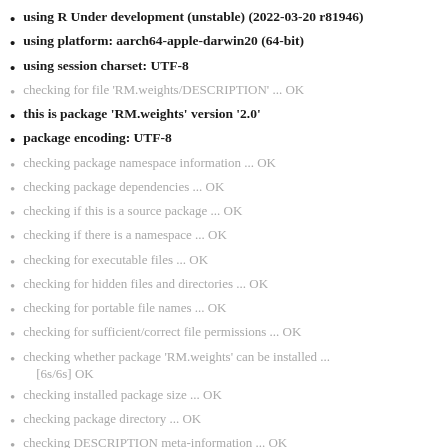using R Under development (unstable) (2022-03-20 r81946)
using platform: aarch64-apple-darwin20 (64-bit)
using session charset: UTF-8
checking for file ‘RM.weights/DESCRIPTION’ ... OK
this is package ‘RM.weights’ version ‘2.0’
package encoding: UTF-8
checking package namespace information ... OK
checking package dependencies ... OK
checking if this is a source package ... OK
checking if there is a namespace ... OK
checking for executable files ... OK
checking for hidden files and directories ... OK
checking for portable file names ... OK
checking for sufficient/correct file permissions ... OK
checking whether package ‘RM.weights’ can be installed ... [6s/6s] OK
checking installed package size ... OK
checking package directory ... OK
checking DESCRIPTION meta-information ... OK
checking top-level files ... OK
checking for left-over files ... OK
checking index information ... OK
checking package subdirectories ... OK
checking R files for non-ASCII characters ... OK